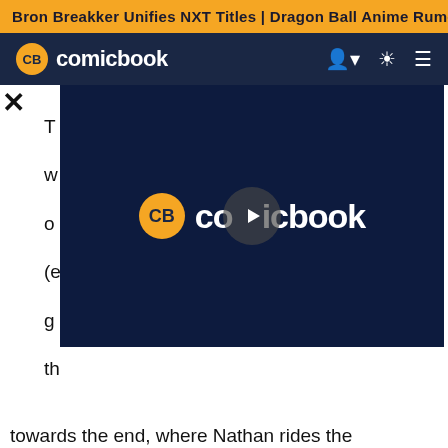Bron Breakker Unifies NXT Titles | Dragon Ball Anime Rumor
[Figure (logo): ComicBook.com navigation bar with CB logo, site name, and icons for user, theme toggle, and menu]
T
w
o
(e
g
th

T
[Figure (screenshot): Video player overlay showing ComicBook.com logo with play button on dark navy background]
towards the end, where Nathan rides the rollercoaster of emotions, moving from anger to regret and finally fear. There's so much honesty in that one page, and Costa's